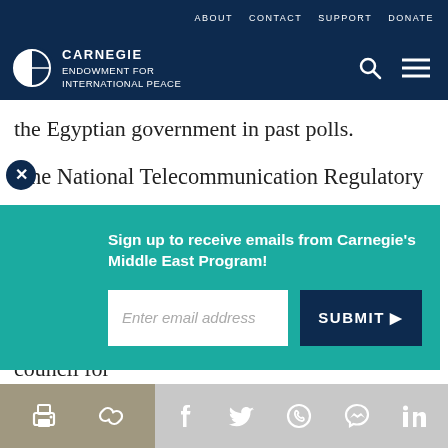ABOUT   CONTACT   SUPPORT   DONATE
[Figure (logo): Carnegie Endowment for International Peace logo with globe icon on dark navy background, with search and menu icons on the right]
the Egyptian government in past polls.
The National Telecommunication Regulatory
[Figure (infographic): Teal popup overlay: 'Sign up to receive emails from Carnegie's Middle East Program!' with email input field and SUBMIT button]
ministry of information and the supreme council for
Share icons: print, link, Facebook, Twitter, WhatsApp, Messenger, LinkedIn